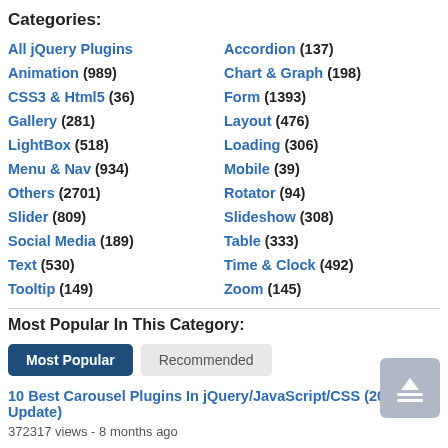Categories:
All jQuery Plugins
Accordion (137)
Animation (989)
Chart & Graph (198)
CSS3 & Html5 (36)
Form (1393)
Gallery (281)
Layout (476)
LightBox (518)
Loading (306)
Menu & Nav (934)
Mobile (39)
Others (2701)
Rotator (94)
Slider (809)
Slideshow (308)
Social Media (189)
Table (333)
Text (530)
Time & Clock (492)
Tooltip (149)
Zoom (145)
Most Popular In This Category:
Most Popular | Recommended
10 Best Carousel Plugins In jQuery/JavaScript/CSS (2022 Update)
372317 views - 8 months ago